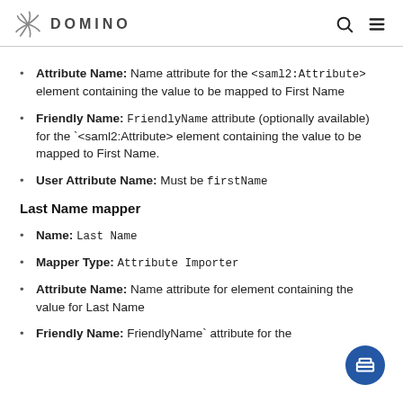DOMINO
Attribute Name: Name attribute for the <saml2:Attribute> element containing the value to be mapped to First Name
Friendly Name: FriendlyName attribute (optionally available) for the `<saml2:Attribute> element containing the value to be mapped to First Name.
User Attribute Name: Must be firstName
Last Name mapper
Name: Last Name
Mapper Type: Attribute Importer
Attribute Name: Name attribute for element containing the value for Last Name
Friendly Name: FriendlyName` attribute for the